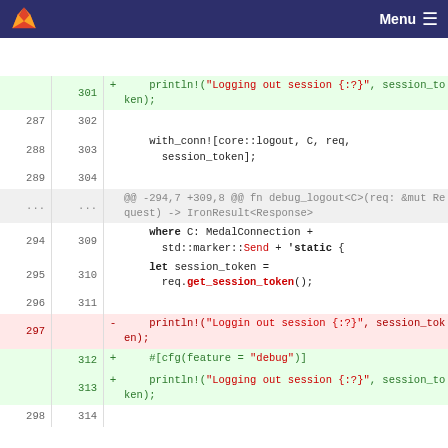GitLab logo | Menu
[Figure (screenshot): Code diff view showing Rust source code with added and removed lines around a println! debug logging statement. Lines 300-314 shown with old/new line numbers.]